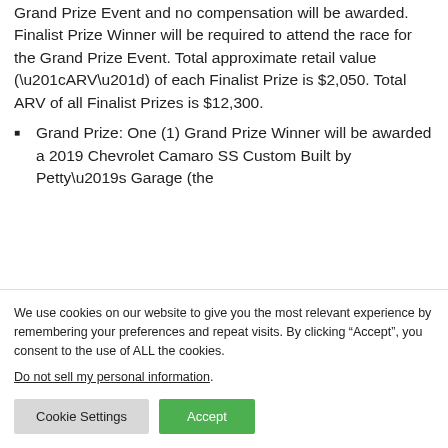Grand Prize Event and no compensation will be awarded. Finalist Prize Winner will be required to attend the race for the Grand Prize Event. Total approximate retail value (“ARV”) of each Finalist Prize is $2,050. Total ARV of all Finalist Prizes is $12,300.
Grand Prize: One (1) Grand Prize Winner will be awarded a 2019 Chevrolet Camaro SS Custom Built by Petty’s Garage (the
We use cookies on our website to give you the most relevant experience by remembering your preferences and repeat visits. By clicking “Accept”, you consent to the use of ALL the cookies.
Do not sell my personal information.